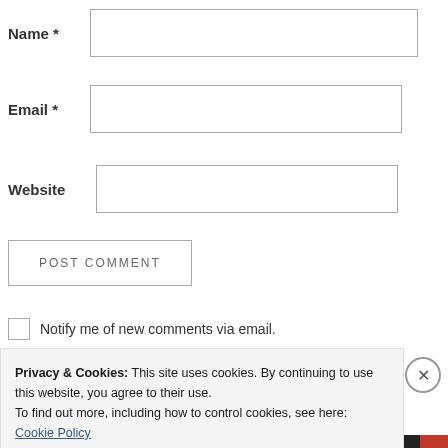Name *
Email *
Website
POST COMMENT
Notify me of new comments via email.
Privacy & Cookies: This site uses cookies. By continuing to use this website, you agree to their use.
To find out more, including how to control cookies, see here: Cookie Policy
Close and accept